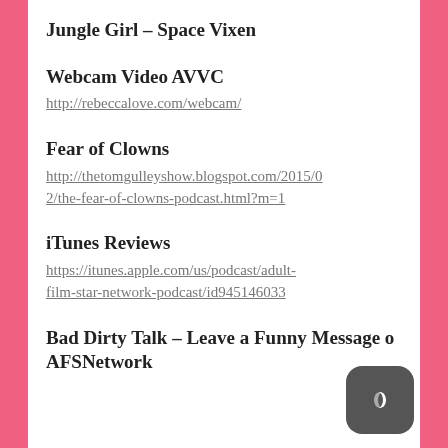Jungle Girl – Space Vixen
Webcam Video AVVC
http://rebeccalove.com/webcam/
Fear of Clowns
http://thetomgulleyshow.blogspot.com/2015/02/the-fear-of-clowns-podcast.html?m=1
iTunes Reviews
https://itunes.apple.com/us/podcast/adult-film-star-network-podcast/id945146033
Bad Dirty Talk – Leave a Funny Message o AFSNetwork